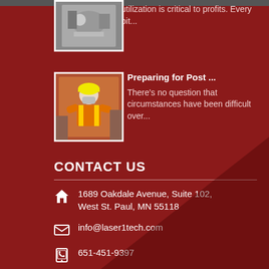utilization is critical to profits. Every bit...
[Figure (photo): Industrial machinery photo with white border]
Preparing for Post ...
There's no question that circumstances have been difficult over...
[Figure (photo): Worker in hard hat and mask in industrial setting]
CONTACT US
1689 Oakdale Avenue, Suite 102, West St. Paul, MN 55118
info@laser1tech.com
651-451-9397
651-451-3444